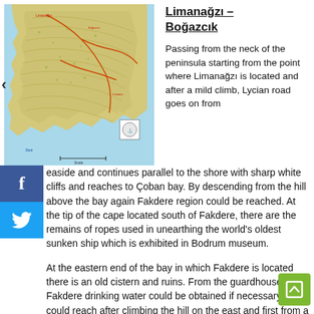[Figure (map): Topographic map of Limanağzı – Boğazcık peninsula area showing coastline, terrain contours, roads, and sea (blue area). A scale bar and compass rose are visible.]
Limanağzı – Boğazcık
Passing from the neck of the peninsula starting from the point where Limanağzı is located and after a mild climb, Lycian road goes on from seaside and continues parallel to the shore with sharp white cliffs and reaches to Çoban bay. By descending from the hill above the bay again Fakdere region could be reached. At the tip of the cape located south of Fakdere, there are the remains of ropes used in unearthing the world's oldest sunken ship which is exhibited in Bodrum museum.
At the eastern end of the bay in which Fakdere is located there is an old cistern and ruins. From the guardhouse in Fakdere drinking water could be obtained if necessary. One could reach after climbing the hill on the east and first from a dirt road then from a pathway which consisted of round, carstic limestone stones and red soil to a region called Üzümlü pier among the rubble stones just next to the sea with olive trees. The road goes